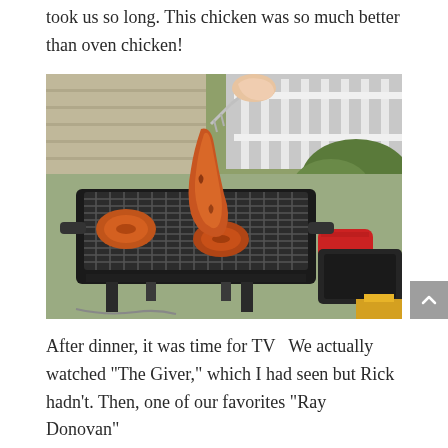took us so long. This chicken was so much better than oven chicken!
[Figure (photo): A small portable charcoal grill outdoors on a patio/deck. A hand holds a fork lifting a piece of grilled chicken off the grill grate. Several other pieces of grilled chicken are visible on the grate. A red oven mitt and a black item (possibly a grill cover or case) are on the right. A beer bottle is partially visible at the bottom right corner.]
After dinner, it was time for TV   We actually watched "The Giver," which I had seen but Rick hadn't. Then, one of our favorites "Ray Donovan"